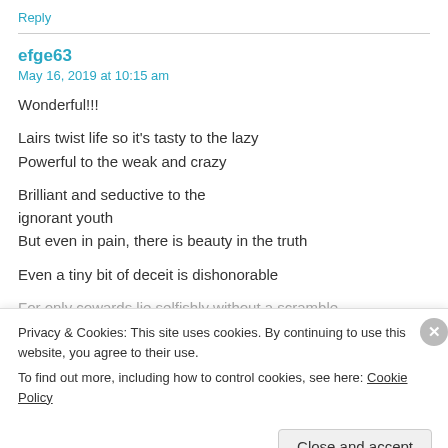Reply
efge63
May 16, 2019 at 10:15 am
Wonderful!!!
Lairs twist life so it's tasty to the lazy
Powerful to the weak and crazy
Brilliant and seductive to the ignorant youth
But even in pain, there is beauty in the truth
Even a tiny bit of deceit is dishonorable
For only cowards lie selfishly without a scramble
Privacy & Cookies: This site uses cookies. By continuing to use this website, you agree to their use.
To find out more, including how to control cookies, see here: Cookie Policy
Close and accept
everything you need.